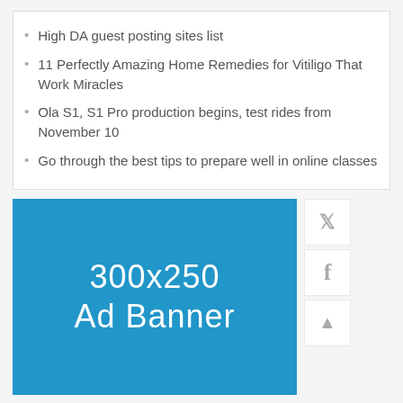High DA guest posting sites list
11 Perfectly Amazing Home Remedies for Vitiligo That Work Miracles
Ola S1, S1 Pro production begins, test rides from November 10
Go through the best tips to prepare well in online classes
[Figure (infographic): 300x250 Ad Banner placeholder on a blue background]